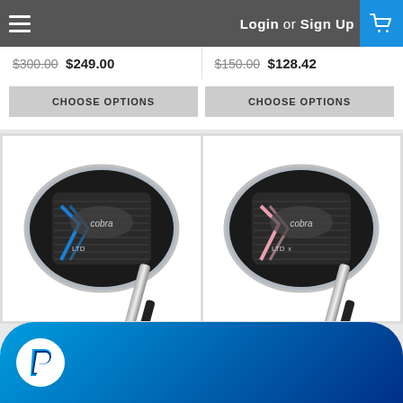Login or Sign Up
$300.00 $249.00
$150.00 $128.42
CHOOSE OPTIONS
CHOOSE OPTIONS
[Figure (photo): Cobra LTD iron golf club, left product card]
[Figure (photo): Cobra LTD X iron golf club, right product card]
[Figure (logo): PayPal button/banner in blue gradient]
$150.00 $128.42
$1,100.00 $999.00